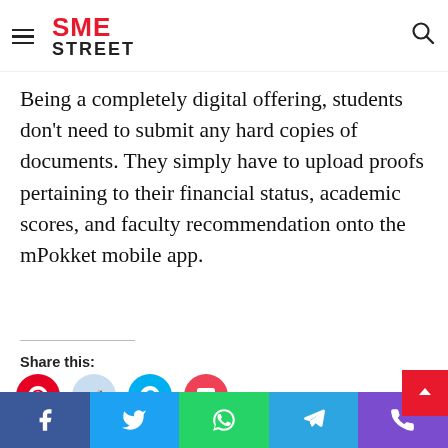SME STREET
help them continue their studies in these tumultuous times.
Being a completely digital offering, students don't need to submit any hard copies of documents. They simply have to upload proofs pertaining to their financial status, academic scores, and faculty recommendation onto the mPokket mobile app.
Share this:
[Figure (infographic): Four social share buttons: Pinterest (red circle), Reddit (light blue circle), Skype (blue circle), Pocket (pink circle)]
Like this:
[Figure (infographic): Like button widget with star icon and 'Like' text, followed by 'Be the first to like this.' text]
Facebook | Twitter | WhatsApp | Telegram | Phone